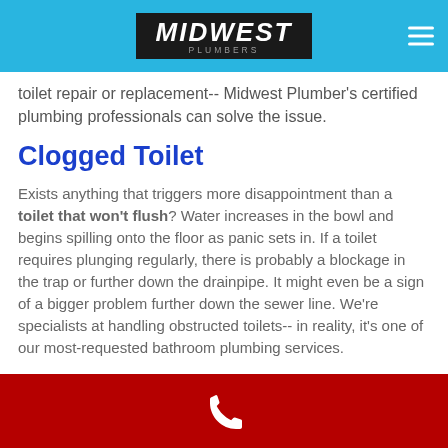MIDWEST [Plumbers logo]
toilet repair or replacement-- Midwest Plumber's certified plumbing professionals can solve the issue.
Clogged Toilet
Exists anything that triggers more disappointment than a toilet that won't flush? Water increases in the bowl and begins spilling onto the floor as panic sets in. If a toilet requires plunging regularly, there is probably a blockage in the trap or further down the drainpipe. It might even be a sign of a bigger problem further down the sewer line. We're specialists at handling obstructed toilets-- in reality, it's one of our most-requested bathroom plumbing services.
[Phone icon]